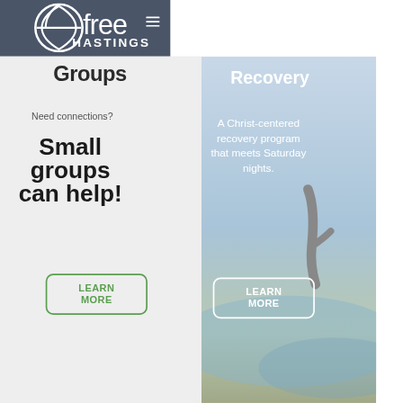efree HASTINGS
Groups
Recovery
Need connections?
Small groups can help!
A Christ-centered recovery program that meets Saturday nights.
LEARN MORE
LEARN MORE